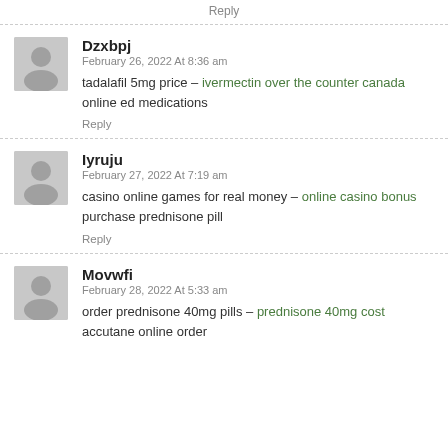Reply
Dzxbpj
February 26, 2022 At 8:36 am
tadalafil 5mg price – ivermectin over the counter canada online ed medications
Reply
Iyruju
February 27, 2022 At 7:19 am
casino online games for real money – online casino bonus purchase prednisone pill
Reply
Movwfi
February 28, 2022 At 5:33 am
order prednisone 40mg pills – prednisone 40mg cost accutane online order